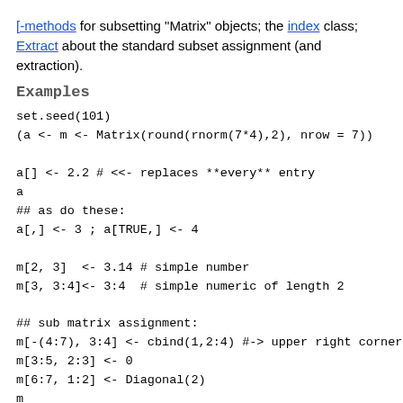[-methods for subsetting "Matrix" objects; the index class; Extract about the standard subset assignment (and extraction).
Examples
set.seed(101)
(a <- m <- Matrix(round(rnorm(7*4),2), nrow = 7))

a[] <- 2.2 # <<- replaces **every** entry
a
## as do these:
a[,] <- 3 ; a[TRUE,] <- 4

m[2, 3]  <- 3.14 # simple number
m[3, 3:4]<- 3:4  # simple numeric of length 2

## sub matrix assignment:
m[-(4:7), 3:4] <- cbind(1,2:4) #-> upper right corner o
m[3:5, 2:3] <- 0
m[6:7, 1:2] <- Diagonal(2)
m

## rows or columns only: